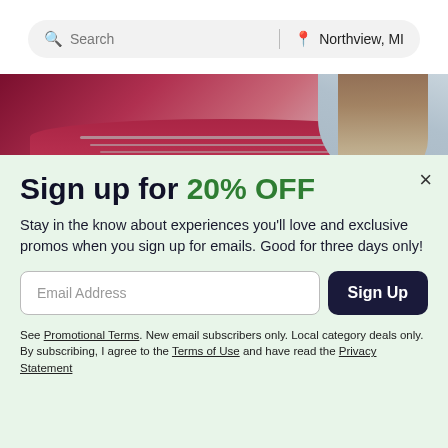[Figure (screenshot): Search bar with 'Search' placeholder on left and 'Northview, MI' location on right, on a light grey pill-shaped background]
[Figure (photo): Partial photo of a woman in a red/maroon blazer with layered necklaces and flowing hair]
One or Two Dermaplaning or Microdermabrasion Tr...
Sign up for 20% OFF
Stay in the know about experiences you'll love and exclusive promos when you sign up for emails. Good for three days only!
Email Address
Sign Up
See Promotional Terms. New email subscribers only. Local category deals only. By subscribing, I agree to the Terms of Use and have read the Privacy Statement